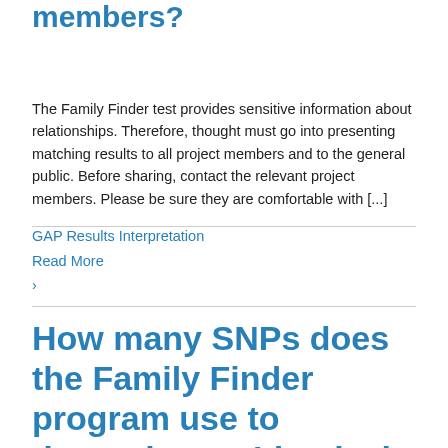members?
The Family Finder test provides sensitive information about relationships. Therefore, thought must go into presenting matching results to all project members and to the general public. Before sharing, contact the relevant project members. Please be sure they are comfortable with [...]
GAP Results Interpretation
Read More ›
How many SNPs does the Family Finder program use to determine an Identical by Descent (IBD) segment?